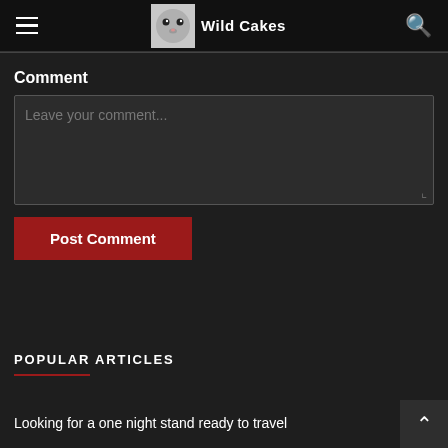Wild Cakes
Comment
Leave your comment...
Post Comment
POPULAR ARTICLES
Looking for a one night stand ready to travel